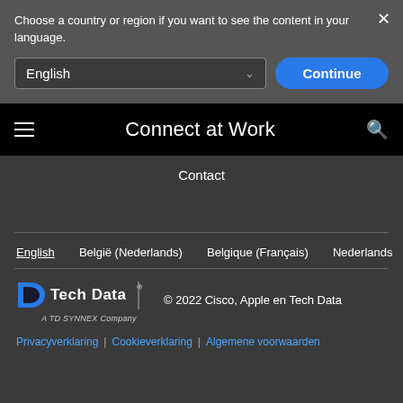Choose a country or region if you want to see the content in your language.
English
Continue
Connect at Work
Contact
English | België (Nederlands) | Belgique (Français) | Nederlands
[Figure (logo): Tech Data - A TD SYNNEX Company logo]
© 2022 Cisco, Apple en Tech Data
Privacyverklaring | Cookieverklaring | Algemene voorwaarden